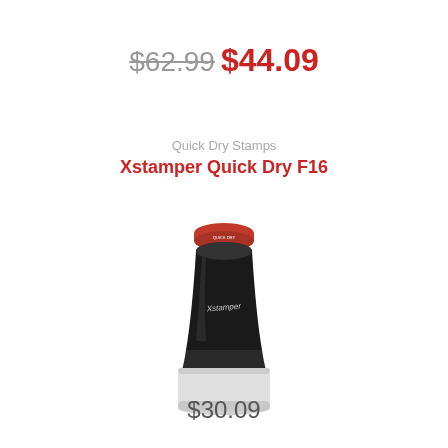$62.99 $44.09
Quick Dry Stamps
Xstamper Quick Dry F16
[Figure (photo): Product photo of Xstamper Quick Dry F16 stamp — a black cylindrical self-inking stamp with a white base/ink pad compartment and the Xstamper logo on the side.]
$30.09